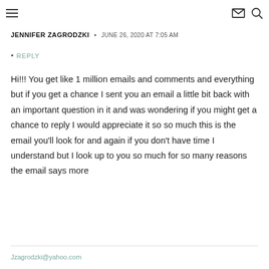≡  ✉ 🔍
JENNIFER ZAGRODZKI  •  JUNE 26, 2020 AT 7:05 AM
• REPLY
Hi!!! You get like 1 million emails and comments and everything but if you get a chance I sent you an email a little bit back with an important question in it and was wondering if you might get a chance to reply I would appreciate it so so much this is the email you'll look for and again if you don't have time I understand but I look up to you so much for so many reasons the email says more
Jzagrodzki@yahoo.com